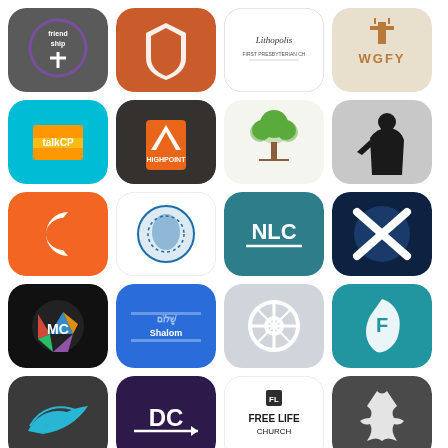[Figure (illustration): Grid of 20 app icons representing various church, ministry, and Christian organization mobile applications arranged in 5 rows of 4 columns.]